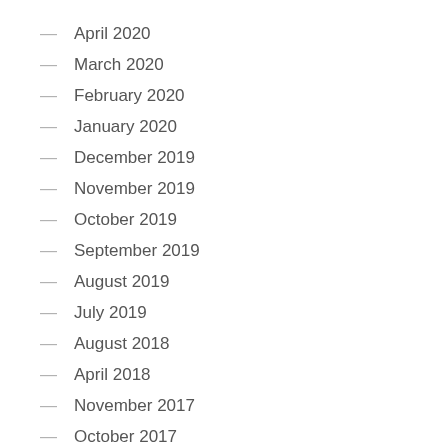April 2020
March 2020
February 2020
January 2020
December 2019
November 2019
October 2019
September 2019
August 2019
July 2019
August 2018
April 2018
November 2017
October 2017